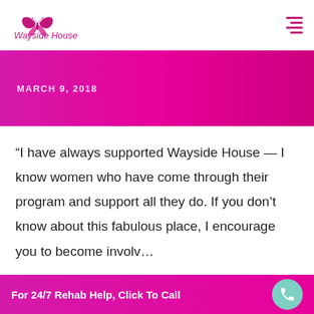Wayside House
MARCH 9, 2018
“I have always supported Wayside House — I know women who have come through their program and support all they do. If you don’t know about this fabulous place, I encourage you to become invol…
For 24/7 Rehab Help, Click To Call